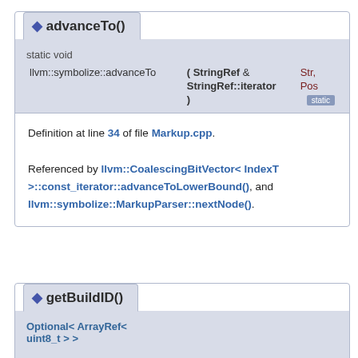◆ advanceTo()
static void
llvm::symbolize::advanceTo ( StringRef & Str, StringRef::iterator Pos )
Definition at line 34 of file Markup.cpp.

Referenced by llvm::CoalescingBitVector< IndexT >::const_iterator::advanceToLowerBound(), and llvm::symbolize::MarkupParser::nextNode().
◆ getBuildID()
Optional< ArrayRef<
uint8_t > >